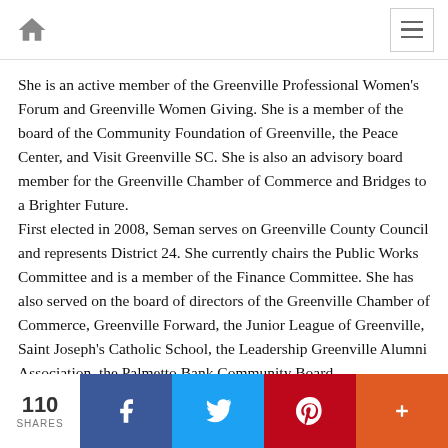Navigation bar with home icon and menu button
She is an active member of the Greenville Professional Women's Forum and Greenville Women Giving. She is a member of the board of the Community Foundation of Greenville, the Peace Center, and Visit Greenville SC. She is also an advisory board member for the Greenville Chamber of Commerce and Bridges to a Brighter Future.
First elected in 2008, Seman serves on Greenville County Council and represents District 24. She currently chairs the Public Works Committee and is a member of the Finance Committee. She has also served on the board of directors of the Greenville Chamber of Commerce, Greenville Forward, the Junior League of Greenville, Saint Joseph's Catholic School, the Leadership Greenville Alumni Association, the Palmetto Bank Community Board.
110 SHARES — social share bar (Facebook, Twitter, Pinterest, Plus)